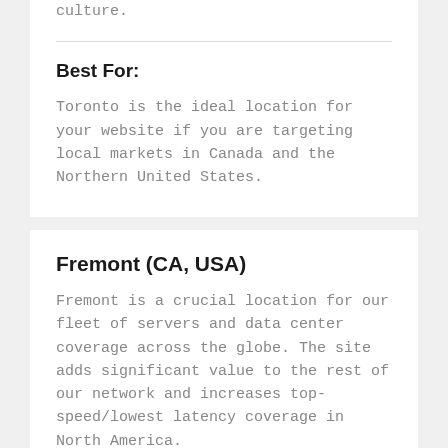culture.
Best For:
Toronto is the ideal location for your website if you are targeting local markets in Canada and the Northern United States.
Fremont (CA, USA)
Fremont is a crucial location for our fleet of servers and data center coverage across the globe. The site adds significant value to the rest of our network and increases top-speed/lowest latency coverage in North America.
Best For:
West Coast based companies, moreover, businesses